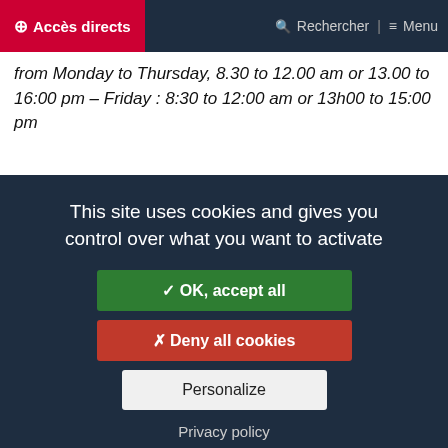⊕ Accès directs | Rechercher | ≡ Menu
from Monday to Thursday, 8.30 to 12.00 am or 13.00 to 16:00 pm – Friday : 8:30 to 12:00 am or 13h00 to 15:00 pm
This site uses cookies and gives you control over what you want to activate
✓ OK, accept all
✗ Deny all cookies
Personalize
Privacy policy